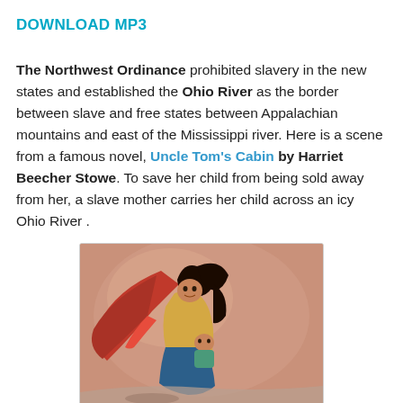DOWNLOAD MP3
The Northwest Ordinance prohibited slavery in the new states and established the Ohio River as the border between slave and free states between Appalachian mountains and east of the Mississippi river. Here is a scene from a famous novel, Uncle Tom's Cabin by Harriet Beecher Stowe. To save her child from being sold away from her, a slave mother carries her child across an icy Ohio River .
[Figure (illustration): A painting depicting a slave mother carrying her child across the icy Ohio River, a scene from Uncle Tom's Cabin by Harriet Beecher Stowe. The woman wears a red flowing cape, blue skirt, and yellow top, clutching a small child, set against a warm reddish-brown background.]